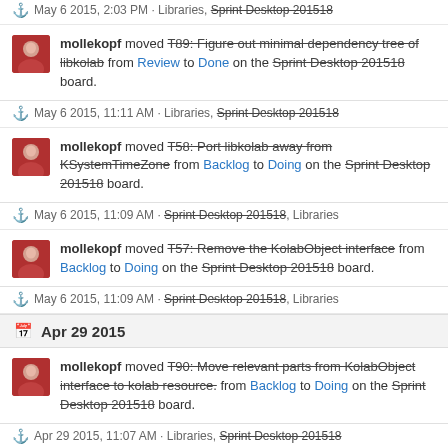May 6 2015, 2:03 PM · Libraries, Sprint Desktop 201518
mollekopf moved T89: Figure out minimal dependency tree of libkolab from Review to Done on the Sprint Desktop 201518 board.
May 6 2015, 11:11 AM · Libraries, Sprint Desktop 201518
mollekopf moved T58: Port libkolab away from KSystemTimeZone from Backlog to Doing on the Sprint Desktop 201518 board.
May 6 2015, 11:09 AM · Sprint Desktop 201518, Libraries
mollekopf moved T57: Remove the KolabObject interface from Backlog to Doing on the Sprint Desktop 201518 board.
May 6 2015, 11:09 AM · Sprint Desktop 201518, Libraries
Apr 29 2015
mollekopf moved T90: Move relevant parts from KolabObject interface to kolab resource. from Backlog to Doing on the Sprint Desktop 201518 board.
Apr 29 2015, 11:07 AM · Libraries, Sprint Desktop 201518